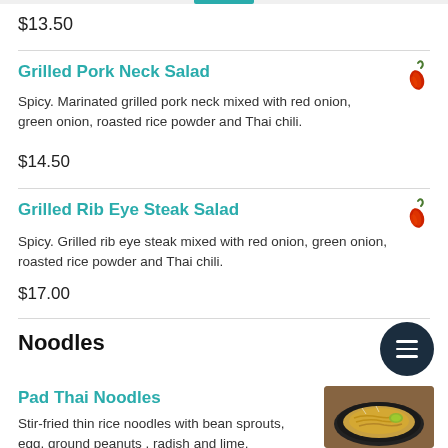$13.50
Grilled Pork Neck Salad
Spicy. Marinated grilled pork neck mixed with red onion, green onion, roasted rice powder and Thai chili.
$14.50
Grilled Rib Eye Steak Salad
Spicy. Grilled rib eye steak mixed with red onion, green onion, roasted rice powder and Thai chili.
$17.00
Noodles
Pad Thai Noodles
Stir-fried thin rice noodles with bean sprouts, egg, ground peanuts , radish and lime.
[Figure (photo): Photo of Pad Thai Noodles dish on a dark plate]